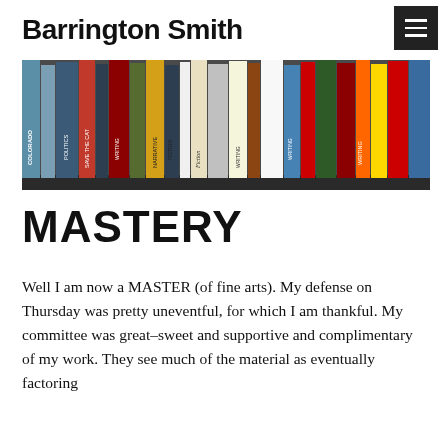Barrington Smith
[Figure (photo): A horizontal photo of a bookshelf with many book spines visible, including titles like 'Colorado', 'Save the Cat', 'Writing Fiction', 'Narrative Fiction', and others.]
MASTERY
Well I am now a MASTER (of fine arts). My defense on Thursday was pretty uneventful, for which I am thankful. My committee was great–sweet and supportive and complimentary of my work. They see much of the material as eventually factoring